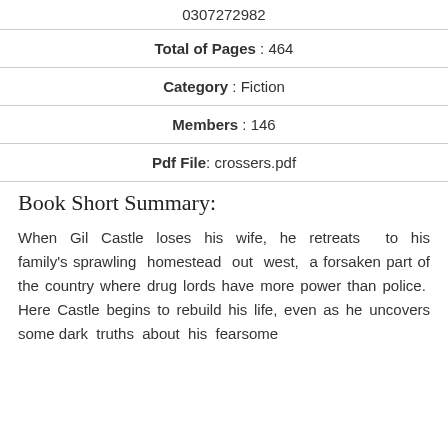0307272982
Total of Pages : 464
Category : Fiction
Members : 146
Pdf File: crossers.pdf
Book Short Summary:
When Gil Castle loses his wife, he retreats to his family's sprawling homestead out west, a forsaken part of the country where drug lords have more power than police. Here Castle begins to rebuild his life, even as he uncovers some dark truths about his fearsome